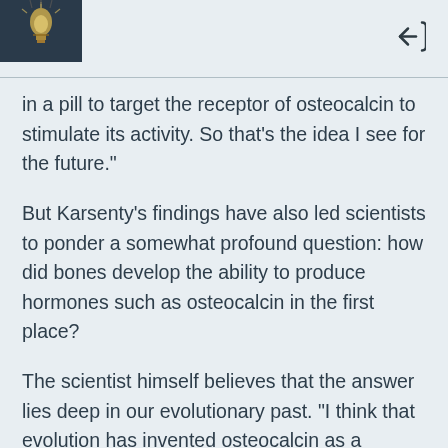[header with hamburger menu, lightbulb image, and back button]
in a pill to target the receptor of osteocalcin to stimulate its activity. So that’s the idea I see for the future.”
But Karsenty’s findings have also led scientists to ponder a somewhat profound question: how did bones develop the ability to produce hormones such as osteocalcin in the first place?
The scientist himself believes that the answer lies deep in our evolutionary past. “I think that evolution has invented osteocalcin as a